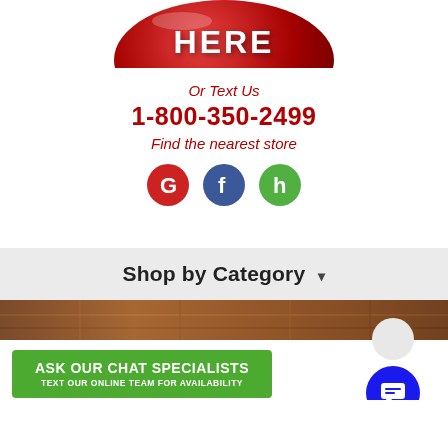[Figure (illustration): Partial red glossy circular button with white text 'HERE' cropped at top]
Or Text Us
1-800-350-2499
Find the nearest store
[Figure (illustration): Three social media icons: Google (red G), Facebook (blue f), Houzz (green h)]
Shop by Category ▾
[Figure (photo): Partial view of wood flooring]
[Figure (infographic): Green banner: ASK OUR CHAT SPECIALISTS / TEXT OUR ONLINE TEAM FOR AVAILABILITY]
[Figure (illustration): Blue chat button circle with message icon and gray circle above]